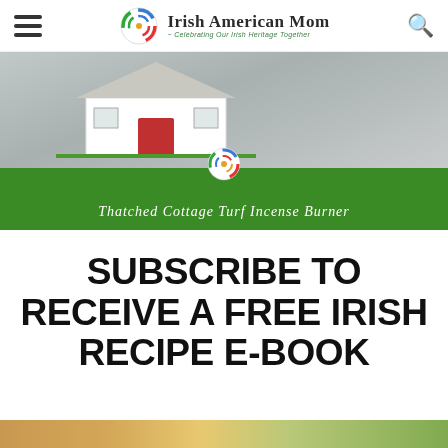Irish American Mom - Celebrating Our Irish Heritage Together
[Figure (photo): Thatched Cottage Turf Incense Burner product photo with green banner overlay and Celtic knot logo]
SUBSCRIBE TO RECEIVE A FREE IRISH RECIPE E-BOOK
[Figure (photo): Bottom strip showing partial food/nature photos in warm golden and green tones]